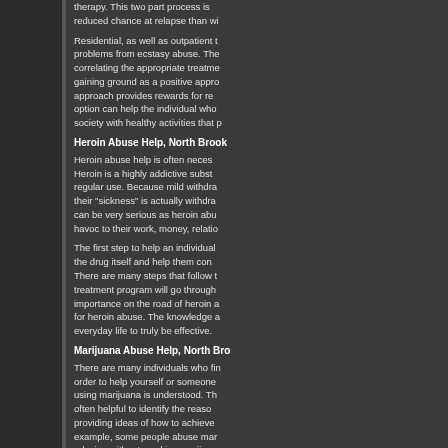therapy. This two part process is reduced chance at relapse than wi
Residential, as well as outpatient t problems from ecstasy abuse. The correlating the appropriate treatme gaining ground as a positive appro approach provides rewards for re option can help the individual who society with healthy activities that p
Heroin Abuse Help, North Brook
Heroin abuse help is often neces Heroin is a highly addictive subst regular use. Because mild withdra their "sickness" is actually withdra can be very serious as heroin abu havoc to their work, money, relatio
The first step to help an individual the drug itself and help them con There are many steps that follow t treatment program will go through importance on the road of heroin a for heroin abuse. The knowledge a everyday life to truly be effective.
Marijuana Abuse Help, North Bro
There are many individuals who fin order to help yourself or someone using marijuana is understood. Th often helpful to identify the reaso providing ideas of how to achieve example, some people abuse mar relaxing without smoking marijua enhance conversation and social i years of smoking, the quality of rel